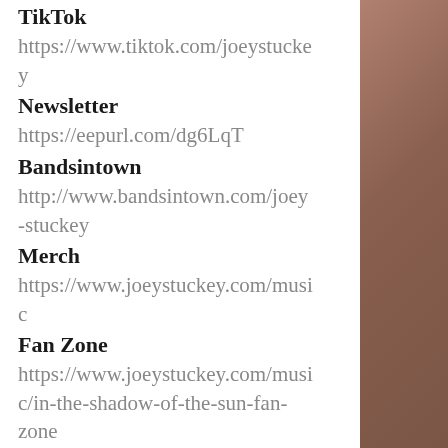TikTok
https://www.tiktok.com/joeystuckey
Newsletter
https://eepurl.com/dg6LqT
Bandsintown
http://www.bandsintown.com/joey-stuckey
Merch
https://www.joeystuckey.com/music
Fan Zone
https://www.joeystuckey.com/music/in-the-shadow-of-the-sun-fan-zone
Spotify for JS3
https://open.spotify.com/artist/4H5sd7R9Or0DSHbiWobGll?